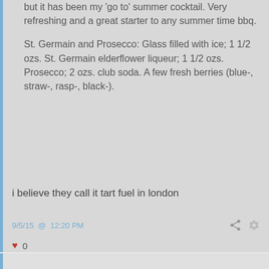but it has been my 'go to' summer cocktail. Very refreshing and a great starter to any summer time bbq.
St. Germain and Prosecco: Glass filled with ice; 1 1/2 ozs. St. Germain elderflower liqueur; 1 1/2 ozs. Prosecco; 2 ozs. club soda. A few fresh berries (blue-, straw-, rasp-, black-).
i believe they call it tart fuel in london
9/5/15  @  12:20 PM